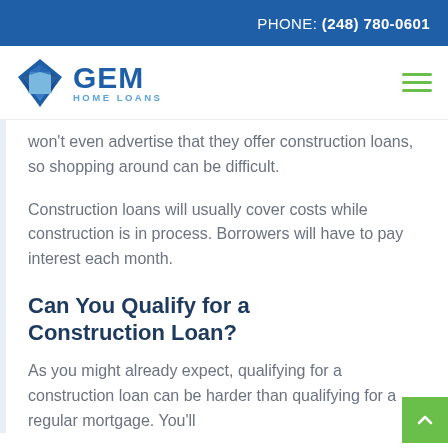PHONE: (248) 780-0601
[Figure (logo): GEM Home Loans logo with diamond/gem icon in blue and a hamburger menu icon in green]
won't even advertise that they offer construction loans, so shopping around can be difficult.
Construction loans will usually cover costs while construction is in process. Borrowers will have to pay interest each month.
Can You Qualify for a Construction Loan?
As you might already expect, qualifying for a construction loan can be harder than qualifying for a regular mortgage. You'll